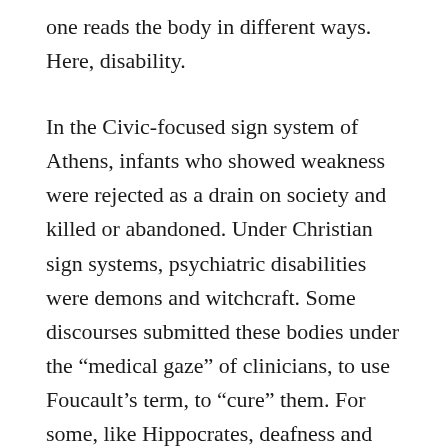one reads the body in different ways. Here, disability.
In the Civic-focused sign system of Athens, infants who showed weakness were rejected as a drain on society and killed or abandoned. Under Christian sign systems, psychiatric disabilities were demons and witchcraft. Some discourses submitted these bodies under the “medical gaze” of clinicians, to use Foucault’s term, to “cure” them. For some, like Hippocrates, deafness and being mute were physically linked, while this was erroneous to other.
As these examples show, the monologic narratives of normal bodies constructed the otherness of disability. Phrased in the language of Quintilian and Cicero, such